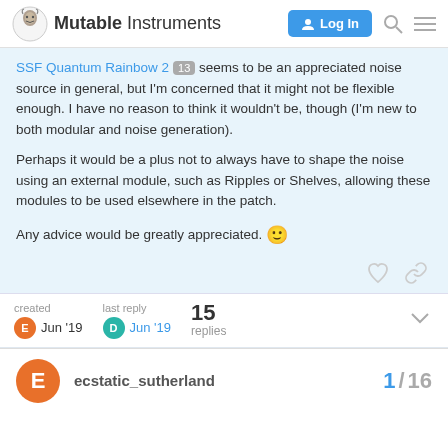Mutable Instruments
SSF Quantum Rainbow 2 13 seems to be an appreciated noise source in general, but I'm concerned that it might not be flexible enough. I have no reason to think it wouldn't be, though (I'm new to both modular and noise generation).

Perhaps it would be a plus not to always have to shape the noise using an external module, such as Ripples or Shelves, allowing these modules to be used elsewhere in the patch.

Any advice would be greatly appreciated. 🙂
created Jun '19  last reply Jun '19  15 replies
ecstatic_sutherland
1 / 16